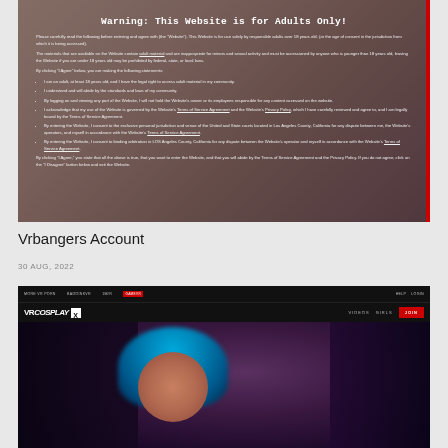[Figure (screenshot): Screenshot of an adult website age-verification warning page with text 'Warning: This Website is for Adults Only!' overlaid on a blurred background image of a woman. Contains warning text, bullet points, and a red vertical bar on the right side.]
Vrbangers Account
30 AUG, 2022
[Figure (screenshot): Screenshot of VRCosplay X website showing navigation bar with 'MORE VR PORN', 'BADOINKVR', '1M/R', 'GAMEVR', 'HELP', 'LOGIN' links, VRCosplay X logo, VIDEOS, GIRLS, JOIN buttons, and a hero image of a woman with blue hair and dark makeup.]